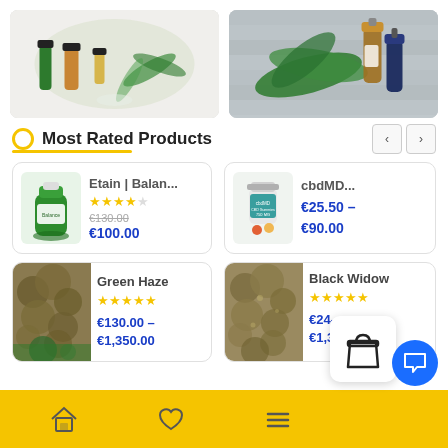[Figure (photo): CBD oil bottles and cannabis leaves on white background]
[Figure (photo): Cannabis leaf and CBD oil bottles on wooden surface]
Most Rated Products
[Figure (photo): Green pill bottle - Etain Balance product]
Etain | Balan... ★★★★☆ €130.00 €100.00
[Figure (photo): cbdMD gummies bottle]
cbdMD... €25.50 – €90.00
[Figure (photo): Green Haze cannabis flower]
Green Haze ★★★★★ €130.00 – €1,350.00
[Figure (photo): Black Widow cannabis flower]
Black Widow ★★★★★ €24 – €1,3...
Home | Wishlist | Menu | Cart